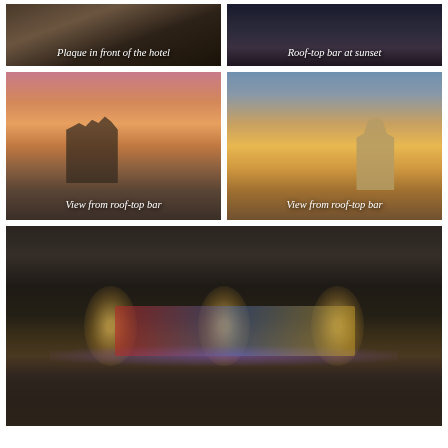[Figure (photo): Plaque in front of the hotel - dark interior/exterior photo]
Plaque in front of the hotel
[Figure (photo): Roof-top bar at sunset - nighttime/dark atmosphere photo]
Roof-top bar at sunset
[Figure (photo): View from roof-top bar - sunset with pink and orange sky over city buildings]
View from roof-top bar
[Figure (photo): View from roof-top bar - sunset with golden sky, tower/building visible]
View from roof-top bar
[Figure (photo): Concert venue - outdoor stage with bright lights, colorful backdrop, rows of chairs in foreground, ruined walls around]